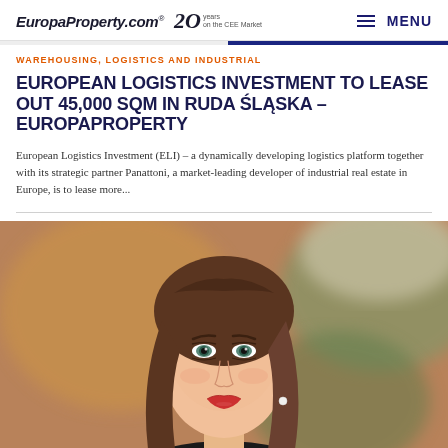EuropaProperty.com® 20 years on the CEE Market | MENU
WAREHOUSING, LOGISTICS AND INDUSTRIAL
EUROPEAN LOGISTICS INVESTMENT TO LEASE OUT 45,000 SQM IN RUDA ŚLĄSKA – EUROPAPROPERTY
European Logistics Investment (ELI) – a dynamically developing logistics platform together with its strategic partner Panattoni, a market-leading developer of industrial real estate in Europe, is to lease more...
[Figure (photo): Portrait photo of a young woman with long brown hair, wearing a black blazer over a white shirt, with a blurred warm-toned background.]